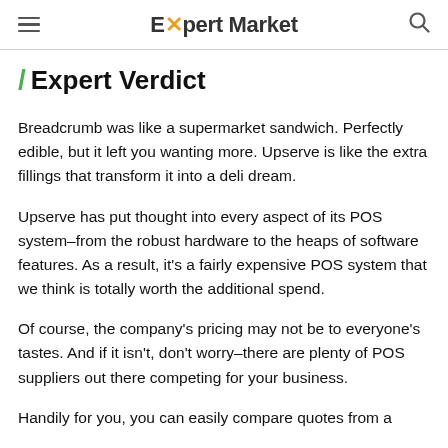Expert Market
/ Expert Verdict
Breadcrumb was like a supermarket sandwich. Perfectly edible, but it left you wanting more. Upserve is like the extra fillings that transform it into a deli dream.
Upserve has put thought into every aspect of its POS system–from the robust hardware to the heaps of software features. As a result, it's a fairly expensive POS system that we think is totally worth the additional spend.
Of course, the company's pricing may not be to everyone's tastes. And if it isn't, don't worry–there are plenty of POS suppliers out there competing for your business.
Handily for you, you can easily compare quotes from a